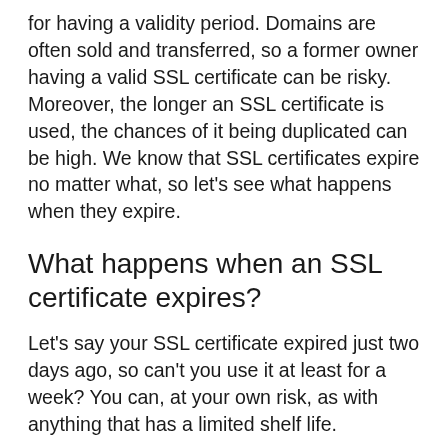for having a validity period. Domains are often sold and transferred, so a former owner having a valid SSL certificate can be risky. Moreover, the longer an SSL certificate is used, the chances of it being duplicated can be high. We know that SSL certificates expire no matter what, so let's see what happens when they expire.
What happens when an SSL certificate expires?
Let's say your SSL certificate expired just two days ago, so can't you use it at least for a week? You can, at your own risk, as with anything that has a limited shelf life.
Once the certificate expires, the transactions on